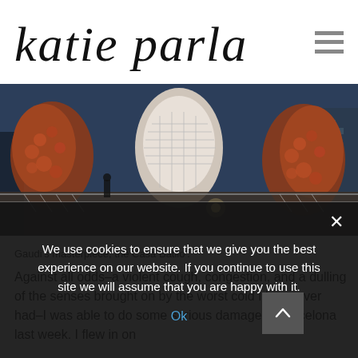katie parla
[Figure (photo): Panoramic photo of Gaudi's Casa Batllo rooftop with distinctive dragon-scale mosaic chimneys in orange and brown tones against a dusk sky with city buildings in background]
Gaudi's masterpiece, the Casa Batllo'.
Against all odds–a violent cough, congestion, and a dulling of the senses brought on by the worst cold I have ever had–I was able to do some serious damage in Barcelona last week. I flew in on
We use cookies to ensure that we give you the best experience on our website. If you continue to use this site we will assume that you are happy with it.
Ok